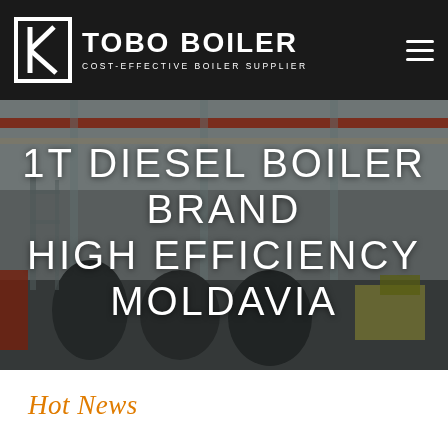TOBO BOILER — COST-EFFECTIVE BOILER SUPPLIER
[Figure (photo): Industrial boiler manufacturing facility interior with overhead cranes, large cylindrical boiler components, steel framework and equipment on a factory floor. Large text overlay reads: 1T DIESEL BOILER BRAND HIGH EFFICIENCY MOLDAVIA]
Hot News